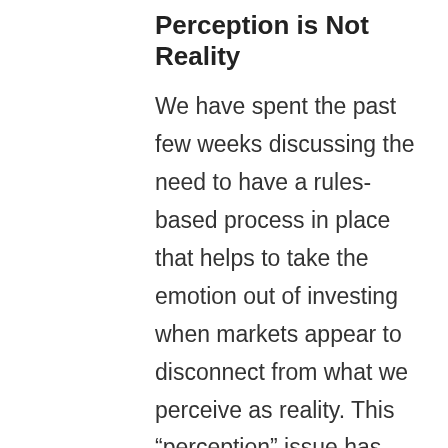Perception is Not Reality
We have spent the past few weeks discussing the need to have a rules-based process in place that helps to take the emotion out of investing when markets appear to disconnect from what we perceive as reality. This “perception” issue has long been studied within the field of behavioral finance and psychology. Humans are by nature risk adverse and will choose to forgo an opportunity to avoid a perceived